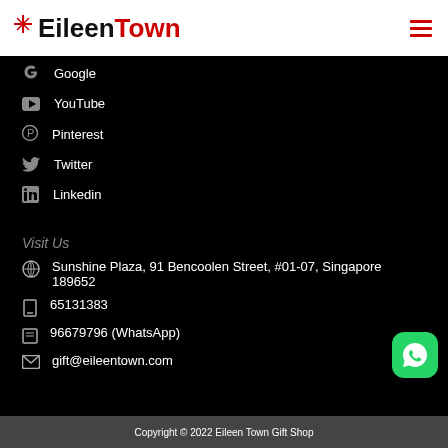EileenTown
Google
YouTube
Pinterest
Twitter
Linkedin
Visit Us
Sunshine Plaza, 91 Bencoolen Street, #01-07, Singapore 189652
65131383
96679796 (WhatsApp)
gift@eileentown.com
Copyright © 2022 Eileen Town Gift Shop